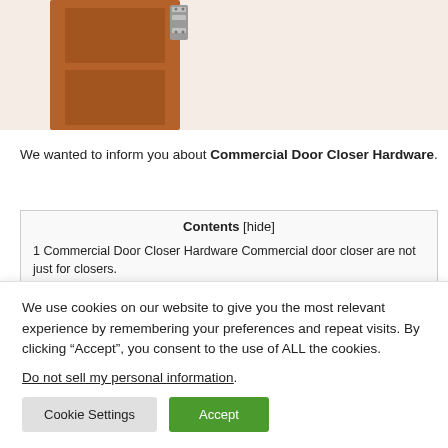[Figure (photo): Partial view of a wooden door with a metal hinge, beige/cream background]
We wanted to inform you about Commercial Door Closer Hardware.
| Contents [hide] |
| --- |
| 1 Commercial Door Closer Hardware Commercial door closer are not just for closers. |
| 1.1 Door Material Type |
We use cookies on our website to give you the most relevant experience by remembering your preferences and repeat visits. By clicking “Accept”, you consent to the use of ALL the cookies.
Do not sell my personal information.